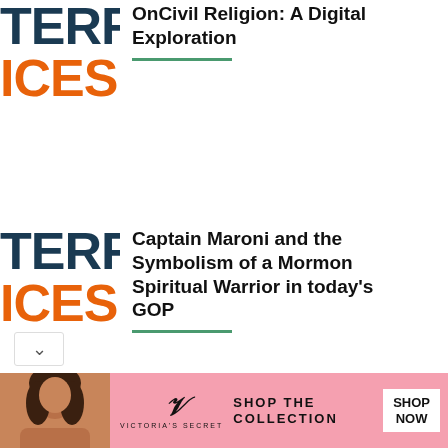[Figure (logo): TERFA ICES logo - partial, dark blue TERFA text and orange ICES text]
OnCivil Religion: A Digital Exploration
[Figure (logo): TERFA ICES logo - partial, dark blue TERFA text and orange ICES text]
Captain Maroni and the Symbolism of a Mormon Spiritual Warrior in today's GOP
[Figure (logo): TERFA ICES logo - partial, dark blue TERFA text and orange ICES text]
Finding the Teachable Moment from January 6th
[Figure (illustration): Victoria's Secret advertisement banner with pink background, model photo, VS script logo, and SHOP THE COLLECTION text with SHOP NOW button]